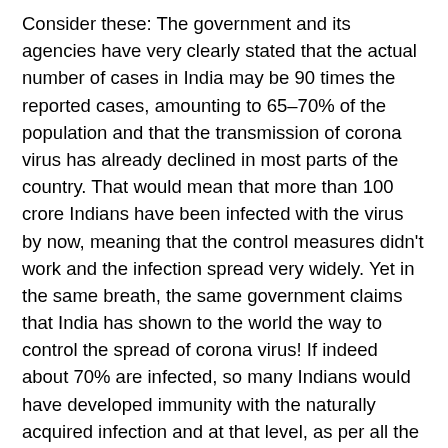Consider these: The government and its agencies have very clearly stated that the actual number of cases in India may be 90 times the reported cases, amounting to 65–70% of the population and that the transmission of corona virus has already declined in most parts of the country. That would mean that more than 100 crore Indians have been infected with the virus by now, meaning that the control measures didn't work and the infection spread very widely. Yet in the same breath, the same government claims that India has shown to the world the way to control the spread of corona virus! If indeed about 70% are infected, so many Indians would have developed immunity with the naturally acquired infection and at that level, as per all the literature, herd immunity would have set in, leading to natural decline in transmission, which is being witnessed now. If that's the case, there obviously is no 'emergency' about corona virus transmission in India any more, but then, the government hurriedly grants approval for 'emergency use' of vaccines in a situation where the country is close to herd immunity according to the statements of the very same government! Moreover, the government hasn't been able to provide all the information on the safety and efficacy of the vaccines and